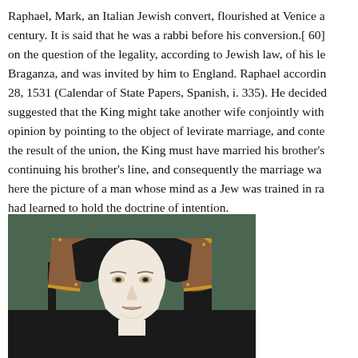Raphael, Mark, an Italian Jewish convert, flourished at Venice a century. It is said that he was a rabbi before his conversion.[ 60] on the question of the legality, according to Jewish law, of his le Braganza, and was invited by him to England. Raphael accordin 28, 1531 (Calendar of State Papers, Spanish, i. 335). He decide suggested that the King might take another wife conjointly with opinion by pointing to the object of levirate marriage, and conte the result of the union, the King must have married his brother's continuing his brother's line, and consequently the marriage wa here the picture of a man whose mind as a Jew was trained in ra had learned to hold the doctrine of intention.
[Figure (photo): Portrait painting of a woman wearing a dark hood with ornate gold trim, against a dark green background. Renaissance-era style portrait, likely Catherine of Aragon.]